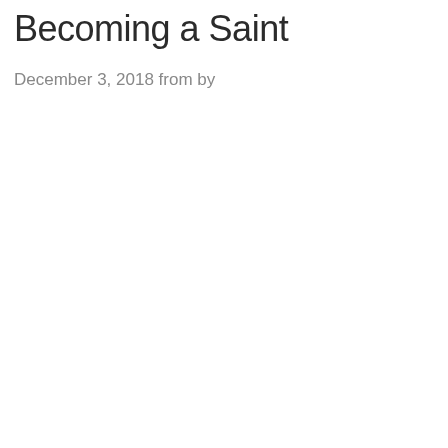Becoming a Saint
December 3, 2018 from by